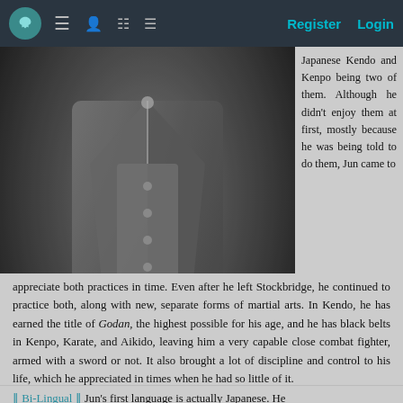Register  Login
[Figure (photo): A person in a grey three-piece suit with hands in pockets, shown from neck down against a dark background]
Japanese Kendo and Kenpo being two of them. Although he didn't enjoy them at first, mostly because he was being told to do them, Jun came to appreciate both practices in time. Even after he left Stockbridge, he continued to practice both, along with new, separate forms of martial arts. In Kendo, he has earned the title of Godan, the highest possible for his age, and he has black belts in Kenpo, Karate, and Aikido, leaving him a very capable close combat fighter, armed with a sword or not. It also brought a lot of discipline and control to his life, which he appreciated in times when he had so little of it.
|| Bi-Lingual || Jun's first language is actually Japanese. He